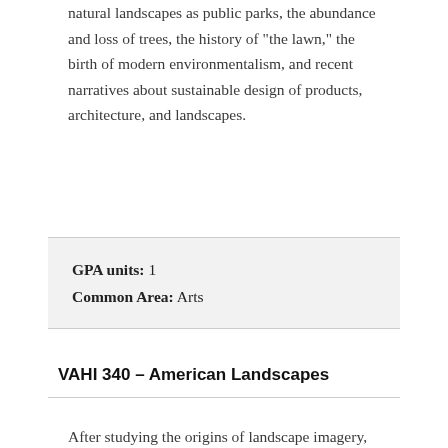natural landscapes as public parks, the abundance and loss of trees, the history of "the lawn," the birth of modern environmentalism, and recent narratives about sustainable design of products, architecture, and landscapes.
GPA units: 1
Common Area: Arts
VAHI 340 – American Landscapes
After studying the origins of landscape imagery, this course considers how landscape art was transformed in American culture. Topics include 19th century paintings of the Hudson River school, photographs and paintings of the American west, and the use of landscape motifs